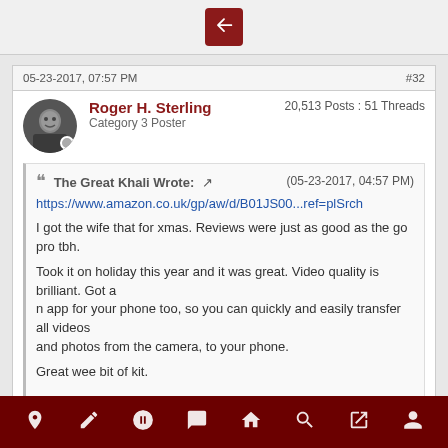[Figure (screenshot): Top bar with dark red reply/back button icon]
05-23-2017, 07:57 PM
#32
Roger H. Sterling
Category 3 Poster
20,513 Posts : 51 Threads
The Great Khali Wrote: (05-23-2017, 04:57 PM)
https://www.amazon.co.uk/gp/aw/d/B01JS00...ref=plSrch

I got the wife that for xmas. Reviews were just as good as the go pro tbh.

Took it on holiday this year and it was great. Video quality is brilliant. Got an app for your phone too, so you can quickly and easily transfer all videos and photos from the camera, to your phone.

Great wee bit of kit.
Is this like the time my maw bought me 2 stripe trackies and told me they were just the same?
[Figure (screenshot): Bottom navigation bar with icons: location pin, pencil, soccer ball, card/document, house, search/key, external link, person]